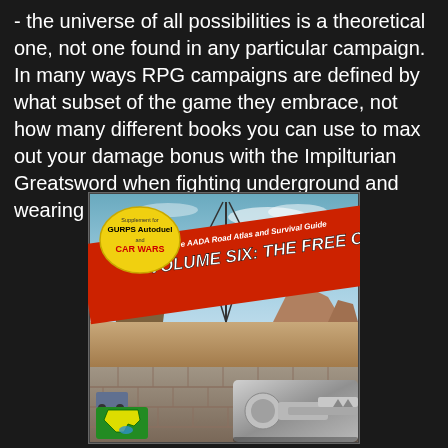- the universe of all possibilities is a theoretical one, not one found in any particular campaign. In many ways RPG campaigns are defined by what subset of the game they embrace, not how many different books you can use to max out your damage bonus with the Impilturian Greatsword when fighting underground and wearing a holy symbol of Cyric..
[Figure (photo): Book cover of 'The AADA Road Atlas and Survival Guide, Volume Six: The Free Oil States', a supplement for GURPS Autoduel and Car Wars. Cover shows a post-apocalyptic desert landscape with a power transmission tower, mesa formations, vehicle wreckage, stone wall barricade, and futuristic machinery. Features a yellow oval badge indicating it's a supplement for GURPS Autoduel and Car Wars, a red diagonal banner with the title, and a green Texas state shape logo in the bottom left corner.]